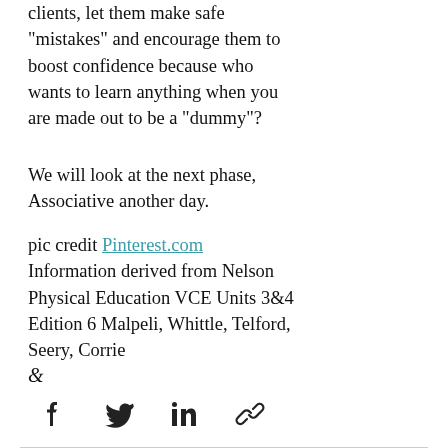clients, let them make safe "mistakes" and encourage them to boost confidence because who wants to learn anything when you are made out to be a "dummy"?
We will look at the next phase, Associative another day.
pic credit Pinterest.com
Information derived from Nelson Physical Education VCE Units 3&4 Edition 6 Malpeli, Whittle, Telford, Seery, Corrie
&
[Figure (other): Social share icons: Facebook, Twitter, LinkedIn, link/copy]